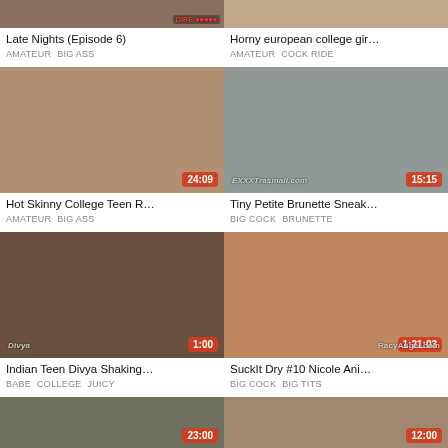[Figure (screenshot): Video thumbnail partial - dark toned]
Late Nights (Episode 6)
AMATEUR   BIG ASS
[Figure (screenshot): Video thumbnail partial - warm toned]
Horny european college gir…
AMATEUR   COCK RIDE
[Figure (screenshot): Video thumbnail 24:09 - blonde]
Hot Skinny College Teen R…
AMATEUR   BIG ASS
[Figure (screenshot): Video thumbnail 15:15 - brunette teen]
Tiny Petite Brunette Sneak…
BIG COCK   BRUNETTE
[Figure (screenshot): Video thumbnail 1:00 - Indian girl]
Indian Teen Divya Shaking…
BABE   COLLEGE   JUICY
[Figure (screenshot): Video thumbnail 1:21:03 - Asian girl]
SuckIt Dry #10 Nicole Ani…
BIG COCK   BIG TITS
[Figure (screenshot): Video thumbnail partial 23:00]
[Figure (screenshot): Video thumbnail partial 12:00]